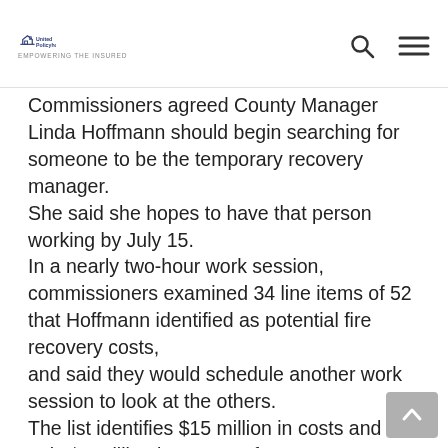United Policyholders — Empowering the Insured
Commissioners agreed County Manager Linda Hoffmann should begin searching for someone to be the temporary recovery manager. She said she hopes to have that person working by July 15. In a nearly two-hour work session, commissioners examined 34 line items of 52 that Hoffmann identified as potential fire recovery costs, and said they would schedule another work session to look at the others. The list identifies $15 million in costs and only $4 million in revenue for recovery efforts, Commissioner Tom Donnelly noted. “We need to plan for a worst case,” Hoffmann told him, noting there may be more than